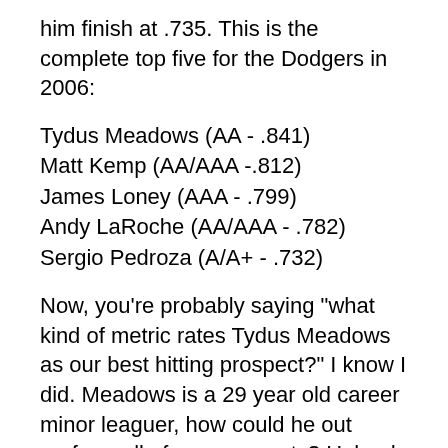him finish at .735. This is the complete top five for the Dodgers in 2006:
Tydus Meadows (AA - .841)
Matt Kemp (AA/AAA -.812)
James Loney (AAA - .799)
Andy LaRoche (AA/AAA - .782)
Sergio Pedroza (A/A+ - .732)
Now, you're probably saying "what kind of metric rates Tydus Meadows as our best hitting prospect?" I know I did. Meadows is a 29 year old career minor leaguer, how could he out perform all of our prospects? Helped by a smallish sample size of 231 at bats, Meadows had a .456 on base percentage this year. While this is a career year, he has a career on base percentage of .383 and has exceeded .400 four times. He probably